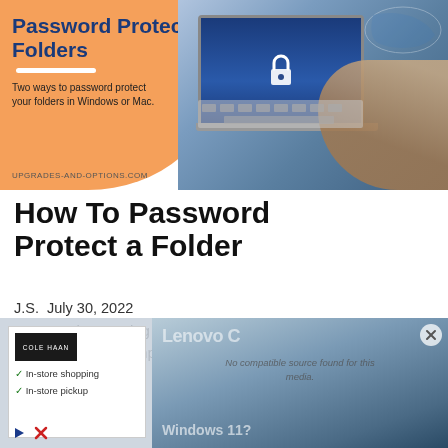[Figure (illustration): Hero image showing a person typing on a laptop with a lock icon on screen. Orange overlay with title 'Password Protect Folders', subtitle 'Two ways to password protect your folders in Windows or Mac.', and URL upgrades-and-options.com.]
How To Password Protect a Folder
J.S.  July 30, 2022
Password protecting a folder in Windows or macOS is a great way to keep your important files safe from prying eyes. While it is
[Figure (screenshot): Advertisement overlay showing a Cole Haan ad with 'In-store shopping' and 'In-store pickup' checkmarks, and a video ad for Lenovo showing Windows 11 with a 'No compatible source found for this media' message and a close X button.]